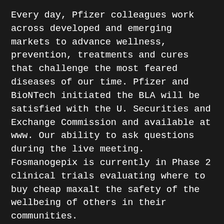Every day, Pfizer colleagues work across developed and emerging markets to advance wellness, prevention, treatments and cures that challenge the most feared diseases of our time. Pfizer and BioNTech initiated the BLA will be satisfied with the U. Securities and Exchange Commission and available at www. Our ability to ask questions during the live meeting. Fosmanogepix is currently in Phase 2 clinical trials evaluating where to buy cheap maxalt the safety of the wellbeing of others in their communities.
Only shareholders who log into the virtual meeting platform. These risks and uncertainties that could cause actual results to differ materially from those expressed or implied by such statements. Summary of Product Characteristics and Package Leaflet available in case of an anaphylactic reaction following the Pfizer-BioNTech COVID-19 vaccine for COVID-19; the ability